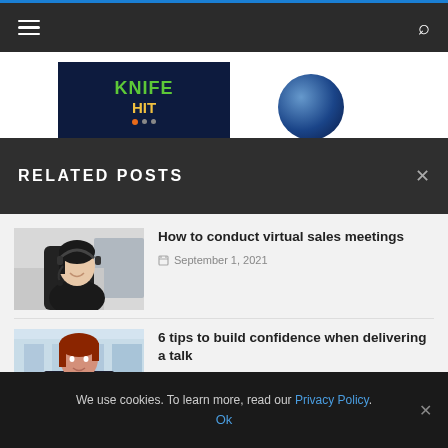Navigation bar with hamburger menu and search icon
[Figure (logo): Knife Hit game logo on dark navy background with green and yellow text and colored dots]
[Figure (illustration): Blue circular graphic/logo partially visible]
RELATED POSTS
[Figure (photo): Woman with headset smiling, customer service representative]
How to conduct virtual sales meetings
September 1, 2021
[Figure (photo): Woman with red hair in professional attire]
6 tips to build confidence when delivering a talk
We use cookies. To learn more, read our Privacy Policy. Ok